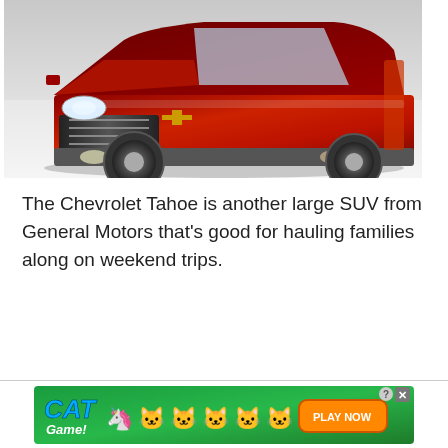[Figure (photo): A red Chevrolet Tahoe large SUV photographed at what appears to be an auto show, shown from a front three-quarter angle against a white background.]
The Chevrolet Tahoe is another large SUV from General Motors that's good for hauling families along on weekend trips.
[Figure (screenshot): Advertisement banner for 'Cat Game' mobile app with colorful cartoon cat characters and a 'PLAY NOW' button on a green background.]